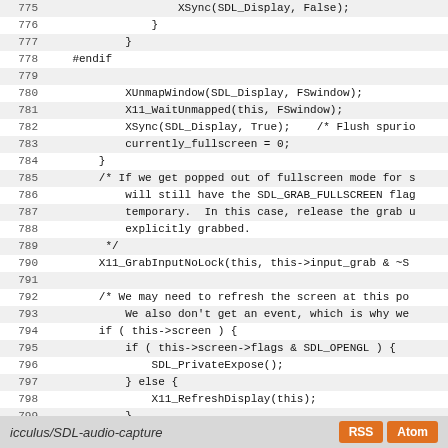Code listing lines 775-803: SDL X11 video source code (icculus/SDL-audio-capture)
icculus/SDL-audio-capture  RSS  Atom